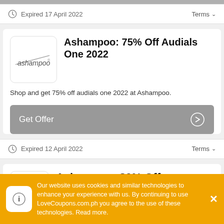[Figure (screenshot): Top grey progress/status bar partially visible]
Expired 17 April 2022
Terms
[Figure (logo): Ashampoo logo — italic text with line graphic on white rounded square background]
Ashampoo: 75% Off Audials One 2022
Shop and get 75% off audials one 2022 at Ashampoo.
Get Offer
Expired 12 April 2022
Terms
Ashampoo: 80% Off
Our website uses cookies and similar technologies to enhance your experience with us. By continuing to use LoveCoupons.com.ph you agree to the use of these technologies. Read more.